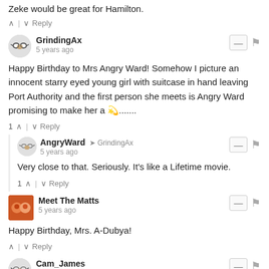Zeke would be great for Hamilton.
↑ | ↓ Reply
GrindingAx
5 years ago
Happy Birthday to Mrs Angry Ward! Somehow I picture an innocent starry eyed young girl with suitcase in hand leaving Port Authority and the first person she meets is Angry Ward promising to make her a 🌟.......
1 ↑ | ↓ Reply
AngryWard → GrindingAx
5 years ago
Very close to that. Seriously. It's like a Lifetime movie.
1 ↑ | ↓ Reply
Meet The Matts
5 years ago
Happy Birthday, Mrs. A-Dubya!
↑ | ↓ Reply
Cam_James
5 years ago